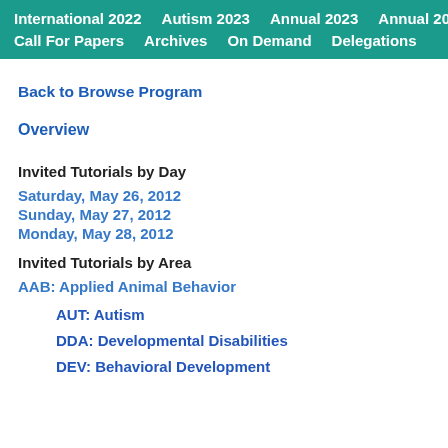International 2022   Autism 2023   Annual 2023   Annual 2024   Call For Papers   Archives   On Demand   Delegations
Back to Browse Program
Overview
Invited Tutorials by Day
Saturday, May 26, 2012
Sunday, May 27, 2012
Monday, May 28, 2012
Invited Tutorials by Area
AAB: Applied Animal Behavior
AUT: Autism
DDA: Developmental Disabilities
DEV: Behavioral Development